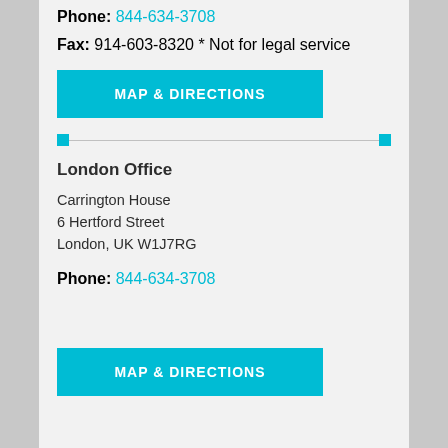Phone: 844-634-3708
Fax: 914-603-8320 * Not for legal service
MAP & DIRECTIONS
London Office
Carrington House
6 Hertford Street
London, UK W1J7RG
Phone: 844-634-3708
MAP & DIRECTIONS